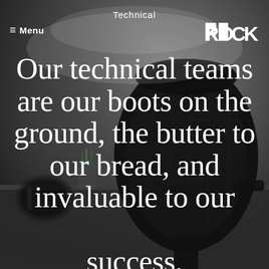[Figure (photo): Blurred office background with a black mesh ergonomic chair, desk, headphones, and plants in a monochromatic gray tone]
Technical
≡  Menu
[Figure (logo): ROCK logo in bold white blocky letters]
Our technical teams are our boots on the ground, the butter to our bread, and invaluable to our success.